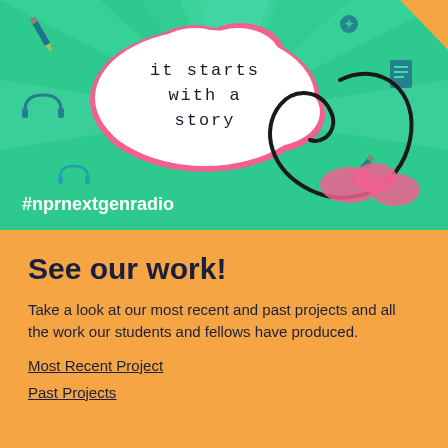[Figure (illustration): Colorful illustrated banner with green and teal background, speech bubble shape in white with pink edges containing the text 'it starts with a story' in handwritten font, a large black circular swirl, and the hashtag #nprnextgenradio in white text at the bottom left. Decorative icons scattered around including pencils, headphones, papers.]
See our work!
Take a look at our most recent and past projects and all the work our students and fellows have produced.
Most Recent Project
Past Projects